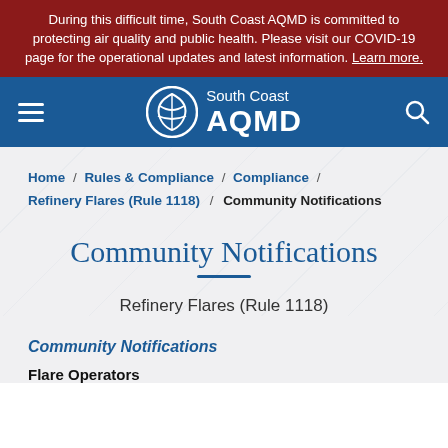During this difficult time, South Coast AQMD is committed to protecting air quality and public health. Please visit our COVID-19 page for the operational updates and latest information. Learn more.
[Figure (logo): South Coast AQMD logo with navigation bar including hamburger menu, logo, and search icon on blue background]
Home / Rules & Compliance / Compliance / Refinery Flares (Rule 1118) / Community Notifications
Community Notifications
Refinery Flares (Rule 1118)
Community Notifications
Flare Operators